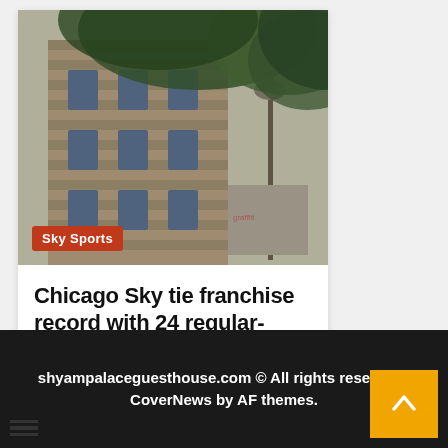[Figure (photo): Exterior photo of a European-style building facade with stone architecture, windows, lamp post, and overhanging green trees/foliage with graffiti visible. Overlaid with 'Sky Sports' badge in orange-red at bottom left.]
Chicago Sky tie franchise record with 24 regular-season wins
2 weeks ago  Berta P. Chance
shyampalaceguesthouse.com © All rights reserved  |  CoverNews by AF themes.